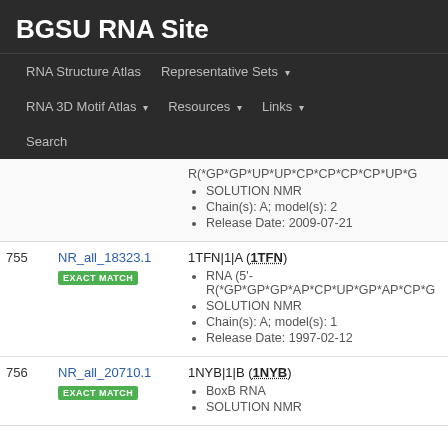BGSU RNA Site
RNA Structure Atlas | Representative Sets | RNA 3D Motif Atlas | Resources | Links | Search
| # | ID | Details |
| --- | --- | --- |
|  |  | R(*GP*GP*UP*UP*CP*CP*CP*CP*UP*G
• SOLUTION NMR
• Chain(s): A; model(s): 2
• Release Date: 2009-07-21 |
| 755 | NR_all_18323.1 EXACT MATCH | 1TFN|1|A (1TFN)
• RNA (5'-R(*GP*GP*GP*AP*CP*UP*GP*AP*CP*G
• SOLUTION NMR
• Chain(s): A; model(s): 1
• Release Date: 1997-02-12 |
| 756 | NR_all_20710.1 EXACT MATCH | 1NYB|1|B (1NYB)
• BoxB RNA
• SOLUTION NMR |